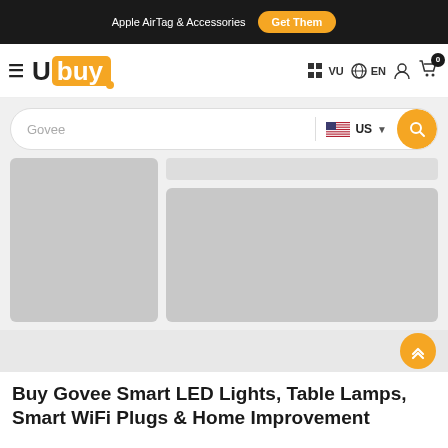Apple AirTag & Accessories  Get Them
[Figure (logo): Ubuy logo with hamburger menu, navigation icons: VU, EN globe, user, cart with badge 0]
[Figure (screenshot): Search bar with placeholder text 'Govee', US flag country selector, and search button]
[Figure (photo): Product listing area with gray placeholder images for a product on left and details on right]
[Figure (other): Scroll-to-top button (orange circle with chevron arrows)]
Buy Govee Smart LED Lights, Table Lamps, Smart WiFi Plugs & Home Improvement